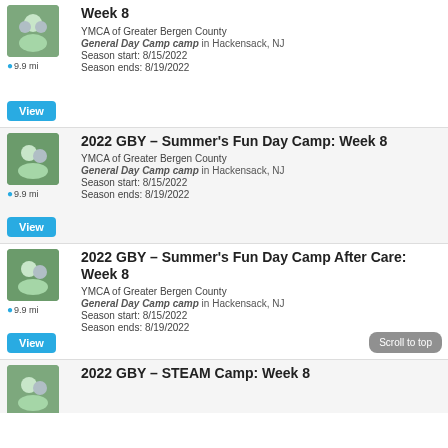Week 8 | YMCA of Greater Bergen County | General Day Camp camp in Hackensack, NJ | Season start: 8/15/2022 | Season ends: 8/19/2022
2022 GBY – Summer's Fun Day Camp: Week 8 | YMCA of Greater Bergen County | General Day Camp camp in Hackensack, NJ | Season start: 8/15/2022 | Season ends: 8/19/2022
2022 GBY – Summer's Fun Day Camp After Care: Week 8 | YMCA of Greater Bergen County | General Day Camp camp in Hackensack, NJ | Season start: 8/15/2022 | Season ends: 8/19/2022
2022 GBY – STEAM Camp: Week 8